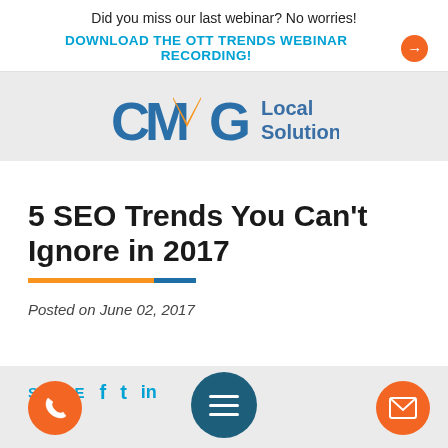Did you miss our last webinar? No worries!
DOWNLOAD THE OTT TRENDS WEBINAR RECORDING!
[Figure (logo): CMG Local Solutions logo with orange M and blue C and G letters]
5 SEO Trends You Can't Ignore in 2017
Posted on June 02, 2017
SHARE
[Figure (infographic): Social share icons: Facebook, Twitter, LinkedIn. Phone button, menu button, email button at bottom.]